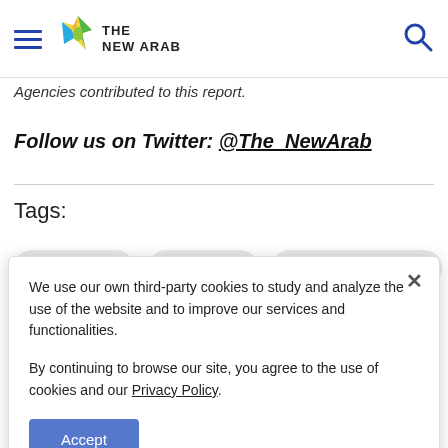THE NEW ARAB
Agencies contributed to this report.
Follow us on Twitter: @The_NewArab
Tags:
Saudi Arabia
Palestine
Deal of the Century
We use our own third-party cookies to study and analyze the use of the website and to improve our services and functionalities.

By continuing to browse our site, you agree to the use of cookies and our Privacy Policy.
Accept